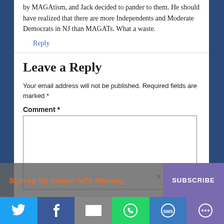by MAGAtism, and Jack decided to pander to them. He should have realized that there are more Independents and Moderate Democrats in NJ than MAGATs. What a waste.
Reply
Leave a Reply
Your email address will not be published. Required fields are marked *
Comment *
Sign up for Insider NJ's Morning
SUBSCRIBE
[Figure (infographic): Twitter share button icon]
[Figure (infographic): Facebook share button icon]
[Figure (infographic): Email share button icon]
[Figure (infographic): WhatsApp share button icon]
[Figure (infographic): SMS share button icon]
[Figure (infographic): More share options button icon]